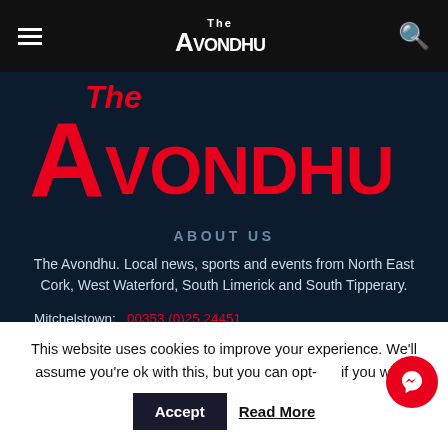The Avondhu — navigation bar with hamburger menu and search icon
[Figure (logo): The Avondhu newspaper logo in red on dark navy background. Large stylized 'A' with 'The' in italic above and 'VONDHU' in bold red to the right.]
ABOUT US
The Avondhu. Local news, sports and events from North East Cork, West Waterford, South Limerick and South Tipperary.
Mitchelstown:   00353 (0)25 24451
This website uses cookies to improve your experience. We'll assume you're ok with this, but you can opt-out if you wish.
Accept   Read More